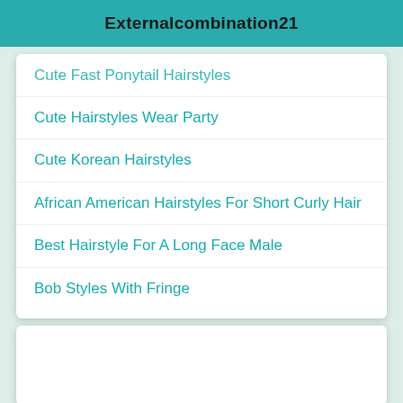Externalcombination21
Cute Fast Ponytail Hairstyles
Cute Hairstyles Wear Party
Cute Korean Hairstyles
African American Hairstyles For Short Curly Hair
Best Hairstyle For A Long Face Male
Bob Styles With Fringe